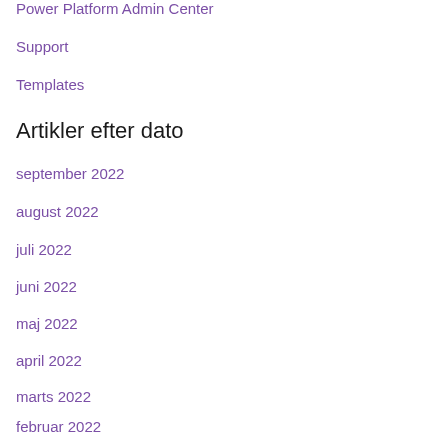Power Platform Admin Center
Support
Templates
Artikler efter dato
september 2022
august 2022
juli 2022
juni 2022
maj 2022
april 2022
marts 2022
februar 2022
januar 2022